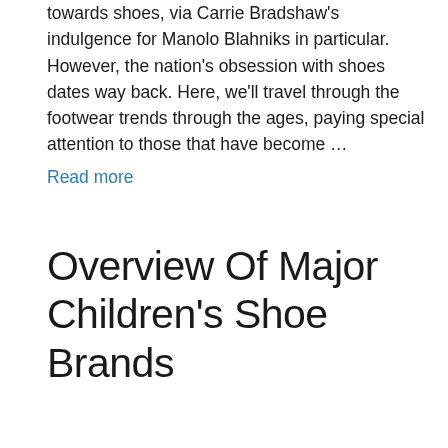towards shoes, via Carrie Bradshaw's indulgence for Manolo Blahniks in particular. However, the nation's obsession with shoes dates way back. Here, we'll travel through the footwear trends through the ages, paying special attention to those that have become …
Read more
Overview Of Major Children's Shoe Brands